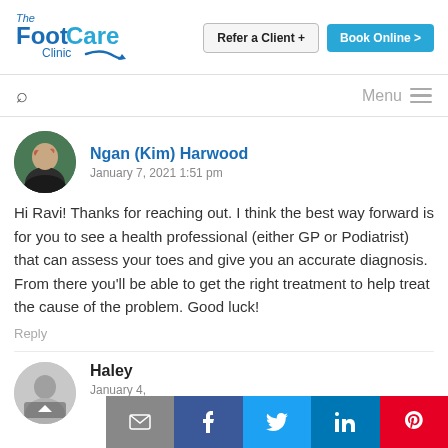[Figure (logo): The FootCare Clinic logo with blue text and swoosh]
Refer a Client +
Book Online >
Menu
Ngan (Kim) Harwood
January 7, 2021 1:51 pm
Hi Ravi! Thanks for reaching out. I think the best way forward is for you to see a health professional (either GP or Podiatrist) that can assess your toes and give you an accurate diagnosis. From there you'll be able to get the right treatment to help treat the cause of the problem. Good luck!
Reply
Haley
January 4,